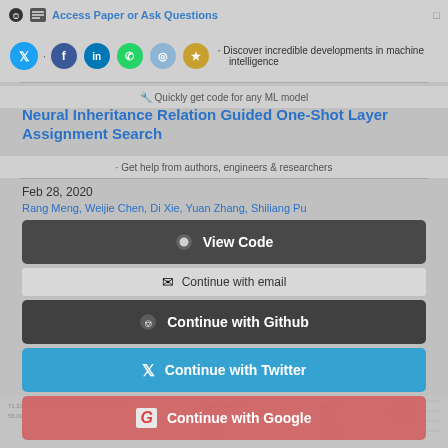Access Paper or Ask Questions
Discover incredible developments in machine intelligence
Quickly get code for any ML model
Neural Inheritance Relation Guided One-Shot Layer Assignment Search
Get help from authors, engineers & researchers
Feb 28, 2020
Rang Meng, Weijie Chen, Di Xie, Yuan Zhang, Shiliang Pu
Continue with email
Continue with Github
Continue with Twitter
Continue with Google
Continue with LinkedIn
Continue with Facebook